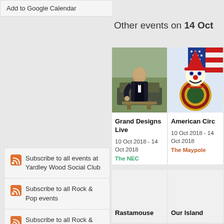Add to Google Calendar
Subscribe to all events at Yardley Wood Social Club
Subscribe to all Rock & Pop events
Subscribe to all Rock & Pop events at Yardley Wood Social Club
Subscribe to all events on Sun 14 October 2018
Other events on 14 Oct
[Figure (photo): Man in black jacket seated in a modern interior]
Grand Designs Live
10 Oct 2018 - 14 Oct 2018
The NEC
[Figure (photo): American circus clown illustration with American flag motif]
American Circ
10 Oct 2018 - 14 Oct 2018
The Maypole
Rastamouse
Our Island